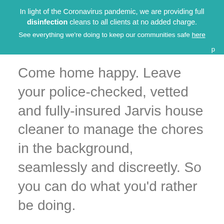In light of the Coronavirus pandemic, we are providing full disinfection cleans to all clients at no added charge. See everything we're doing to keep our communities safe here
Come home happy. Leave your police-checked, vetted and fully-insured Jarvis house cleaner to manage the chores in the background, seamlessly and discreetly. So you can do what you'd rather be doing.
[Figure (illustration): Cartoon illustration of a smiling woman with brown hair wearing a teal top, shown from shoulders up, with a white box below showing four gold stars]